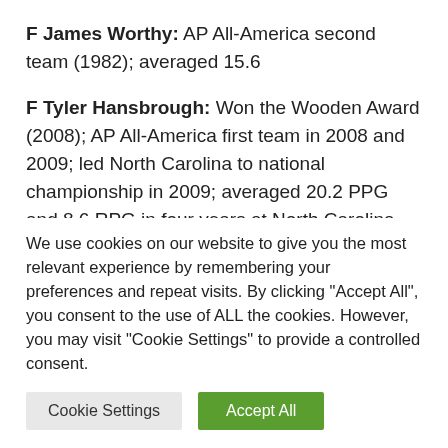F James Worthy: AP All-America second team (1982); averaged 15.6
F Tyler Hansbrough: Won the Wooden Award (2008); AP All-America first team in 2008 and 2009; led North Carolina to national championship in 2009; averaged 20.2 PPG and 8.6 RPG in four years at North Carolina
We use cookies on our website to give you the most relevant experience by remembering your preferences and repeat visits. By clicking “Accept All”, you consent to the use of ALL the cookies. However, you may visit "Cookie Settings" to provide a controlled consent.